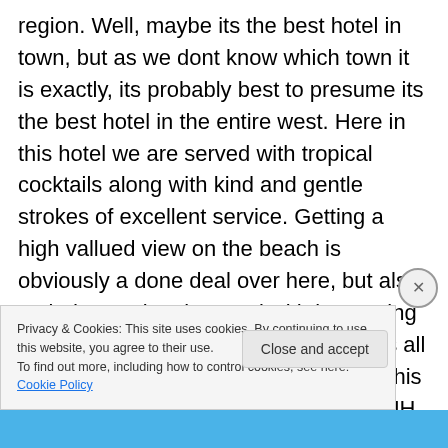region. Well, maybe its the best hotel in town, but as we dont know which town it is exactly, its probably best to presume its the best hotel in the entire west. Here in this hotel we are served with tropical cocktails along with kind and gentle strokes of excellent service. Getting a high vallued view on the beach is obviously a done deal over here, but also an indoor swimming Pool with interesting frogs running the luxurious happenings all around seems to be one of the things this hotel is equiped with. Unlike a typical HH Holmes hotel, this one that is so deliciously cerebrated by Erol H Tout is clearly avoiding all angst &
Privacy & Cookies: This site uses cookies. By continuing to use this website, you agree to their use.
To find out more, including how to control cookies, see here: Cookie Policy
Close and accept